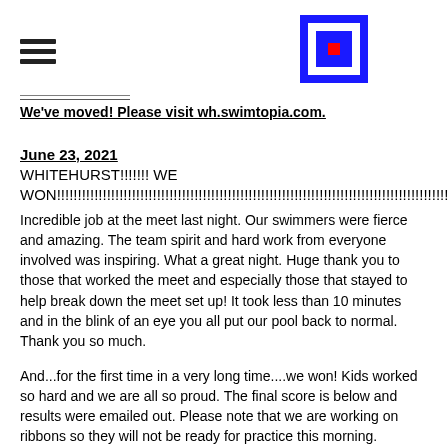[Figure (logo): Navigation hamburger menu icon (three horizontal lines) on the left, and a blue square logo with a white inner border and red square center on the right]
We've moved!  Please visit wh.swimtopia.com.
June 23, 2021
WHITEHURST!!!!!!!  WE WON!!!!!!!!!!!!!!!!!!!!!!!!!!!!!!!!!!!!!!!!!!!!!!!!!!!!!!!!!!!!!!!!!!!!!!!!!!!!!!!!!!!!!!!!!!!!!!!!!!
Incredible job at the meet last night.  Our swimmers were fierce and amazing.  The team spirit and hard work from everyone involved was inspiring.  What a great night.  Huge thank you to those that worked the meet and especially those that stayed to help break down the meet set up!  It took less than 10 minutes and in the blink of an eye you all put our pool back to normal.  Thank you so much.
And...for the first time in a very long time....we won!  Kids worked so hard and we are all so proud.  The final score is below and results were emailed out.  Please note that we are working on ribbons so they will not be ready for practice this morning.